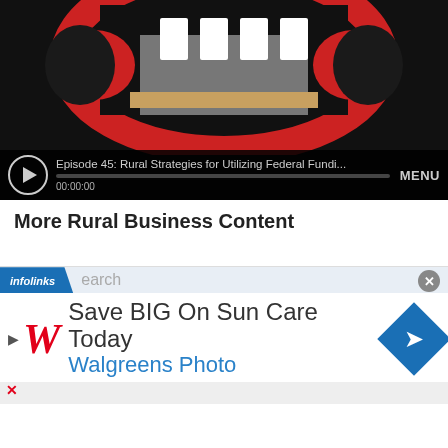[Figure (screenshot): Podcast player embed showing Episode 45: Rural Strategies for Utilizing Federal Funding, with play button, progress bar showing 00:00:00, and MENU label. Dark background with podcast artwork showing a building/barn illustration with red circular design.]
More Rural Business Content
[Figure (screenshot): Infolinks advertisement overlay showing Walgreens ad: 'Save BIG On Sun Care Today' with Walgreens Photo text, W logo, play/pause icon, navigation diamond arrow, and close X button.]